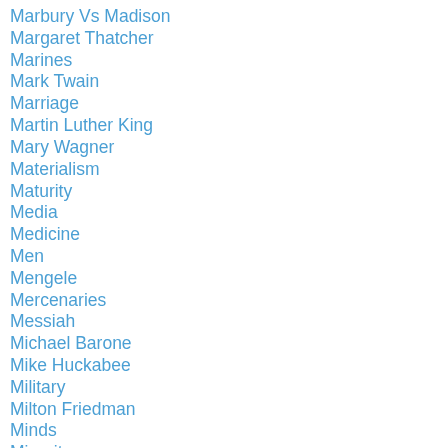Marbury Vs Madison
Margaret Thatcher
Marines
Mark Twain
Marriage
Martin Luther King
Mary Wagner
Materialism
Maturity
Media
Medicine
Men
Mengele
Mercenaries
Messiah
Michael Barone
Mike Huckabee
Military
Milton Friedman
Minds
Minority